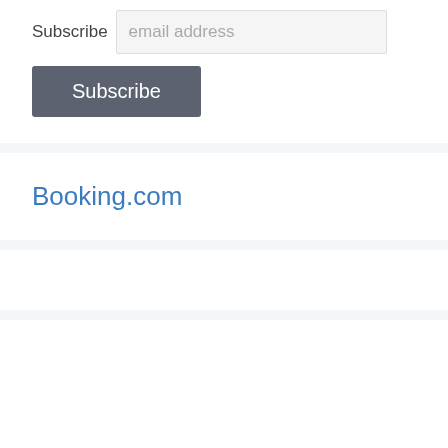Subscribe
email address
Subscribe
Booking.com